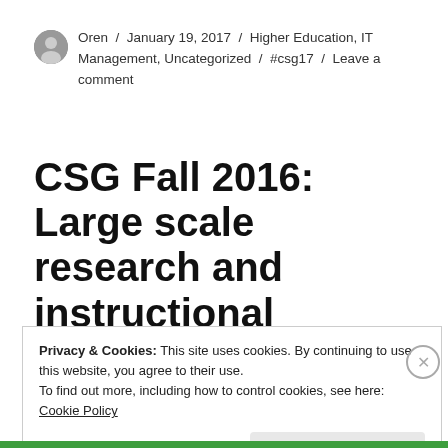Oren / January 19, 2017 / Higher Education, IT Management, Uncategorized / #csg17 / Leave a comment
CSG Fall 2016: Large scale research and instructional computing in the Clouds
Privacy & Cookies: This site uses cookies. By continuing to use this website, you agree to their use.
To find out more, including how to control cookies, see here: Cookie Policy
Close and accept